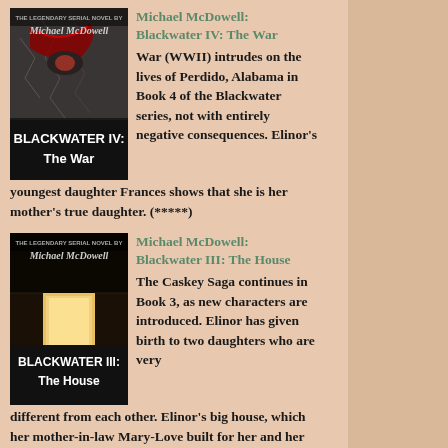[Figure (illustration): Book cover for Blackwater IV: The War by Michael McDowell - dark cover with cracked texture and red elements, title in white on black band]
Michael McDowell: Blackwater IV: The War
War (WWII) intrudes on the lives of Perdido, Alabama in Book 4 of the Blackwater series, not with entirely negative consequences. Elinor's youngest daughter Frances shows that she is her mother's true daughter. (*****)
[Figure (illustration): Book cover for Blackwater III: The House by Michael McDowell - dark cover showing illuminated doorway in a hallway, title in white on black band]
Michael McDowell: Blackwater III: The House
The Caskey Saga continues in Book 3, as new characters are introduced. Elinor has given birth to two daughters who are very different from each other. Elinor's big house, which her mother-in-law Mary-Love built for her and her husband and